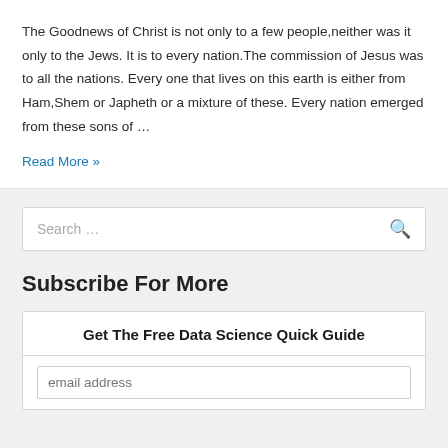The Goodnews of Christ is not only to a few people,neither was it only to the Jews. It is to every nation.The commission of Jesus was to all the nations. Every one that lives on this earth is either from Ham,Shem or Japheth or a mixture of these. Every nation emerged from these sons of …
Read More »
Search …
Subscribe For More
Get The Free Data Science Quick Guide
email address